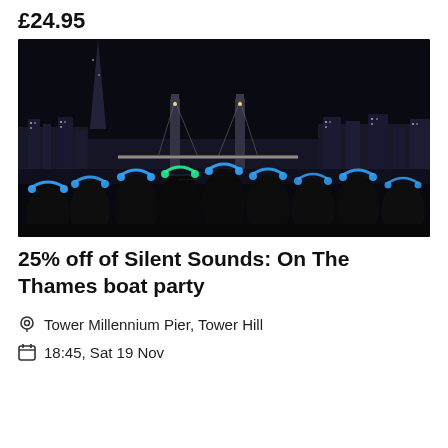£24.95
[Figure (photo): Night photo of a group of people wearing glowing LED headphones on a boat on the Thames, with Tower Bridge and the London skyline illuminated in the background.]
25% off of Silent Sounds: On The Thames boat party
Tower Millennium Pier, Tower Hill
18:45, Sat 19 Nov